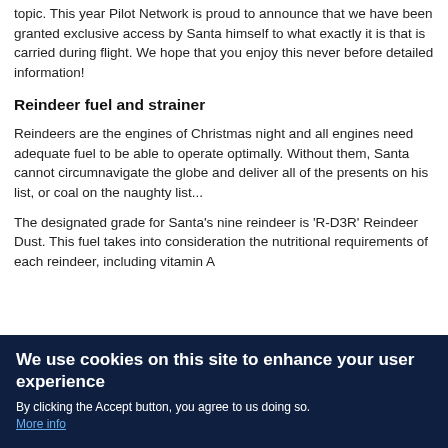topic. This year Pilot Network is proud to announce that we have been granted exclusive access by Santa himself to what exactly it is that is carried during flight. We hope that you enjoy this never before detailed information!
Reindeer fuel and strainer
Reindeers are the engines of Christmas night and all engines need adequate fuel to be able to operate optimally. Without them, Santa cannot circumnavigate the globe and deliver all of the presents on his list, or coal on the naughty list...
The designated grade for Santa’s nine reindeer is ‘R-D3R’ Reindeer Dust. This fuel takes into consideration the nutritional requirements of each reindeer, including vitamin A
We use cookies on this site to enhance your user experience
By clicking the Accept button, you agree to us doing so. More info